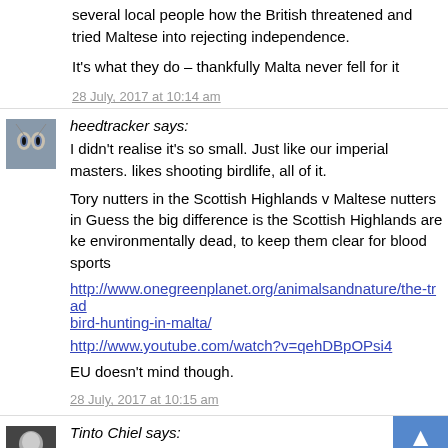several local people how the British threatened and tried Maltese into rejecting independence.

It's what they do – thankfully Malta never fell for it
28 July, 2017 at 10:14 am
heedtracker says:
I didn't realise it's so small. Just like our imperial masters. likes shooting birdlife, all of it.

Tory nutters in the Scottish Highlands v Maltese nutters in Guess the big difference is the Scottish Highlands are ke environmentally dead, to keep them clear for blood sports
http://www.onegreenplanet.org/animalsandnature/the-trad bird-hunting-in-malta/
http://www.youtube.com/watch?v=qehDBpOPsi4
EU doesn't mind though.
28 July, 2017 at 10:15 am
Tinto Chiel says:
Och, Rev, using yon fact hings again. It'll never ca